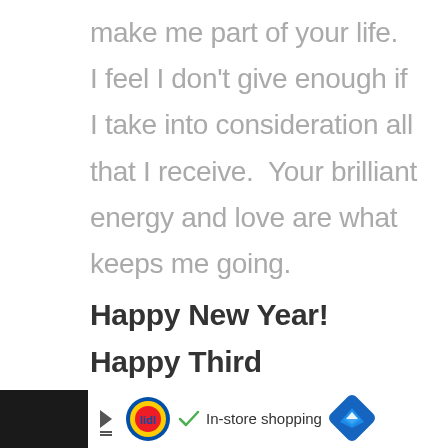make me part of your life.  I feel I don't give enough if I take into consideration all that I receive.  Your brilliant energy and love are what keeps me going.
Happy New Year! Happy Third Anniversary! Keep living, keep loving, and keep traveling.
[Figure (other): Advertisement bar at the bottom: dark background on left and right sides, white center area showing Lidl logo, checkmark icon, 'In-store shopping' text, and a blue navigation/directions diamond icon]